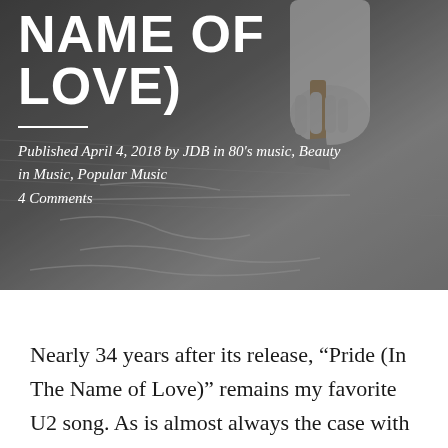NAME OF LOVE)
Published April 4, 2018 by JDB in 80’s music, Beauty in Music, Popular Music
4 Comments
[Figure (photo): Black and white photo of a hand holding a tool writing or carving in sand, used as article header background]
Nearly 34 years after its release, “Pride (In The Name of Love)” remains my favorite U2 song. As is almost always the case with a